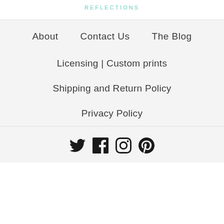REFLECTIONS
About
Contact Us
The Blog
Licensing | Custom prints
Shipping and Return Policy
Privacy Policy
[Figure (infographic): Social media icons: Twitter, Facebook, Instagram, Pinterest]